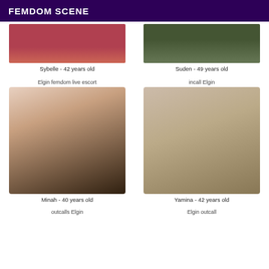FEMDOM SCENE
[Figure (photo): Partial photo of Sybelle, red background visible]
Sybelle - 42 years old
[Figure (photo): Partial photo of Suden, outdoor/dark background]
Suden - 49 years old
Elgin femdom live escort
incall Elgin
[Figure (photo): Close-up photo of Minah, young woman with necklace]
Minah - 40 years old
[Figure (photo): Photo of Yamina, woman with white cap and sunglasses smiling]
Yamina - 42 years old
outcalls Elgin
Elgin outcall